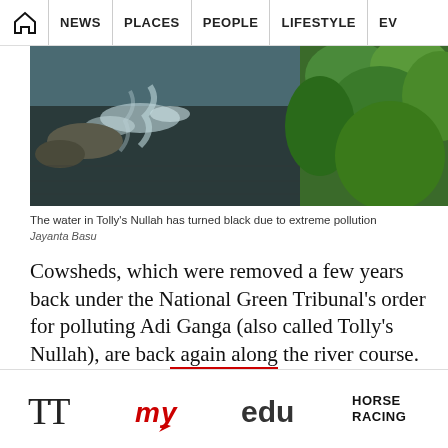HOME | NEWS | PLACES | PEOPLE | LIFESTYLE | EV
[Figure (photo): Photo of Tolly's Nullah / Adi Ganga river with dark polluted water in foreground and lush green vegetation on the right bank]
The water in Tolly's Nullah has turned black due to extreme pollution
Jayanta Basu
Cowsheds, which were removed a few years back under the National Green Tribunal's order for polluting Adi Ganga (also called Tolly's Nullah), are back again along the river course.
On Wednesday, this reporter accompanied environmentalist Subhas Datta to get a firsthand look at the river stretch and found it as polluted as ever with a number of cowsheds dotting the riverine
TT | my | edu | HORSE RACING